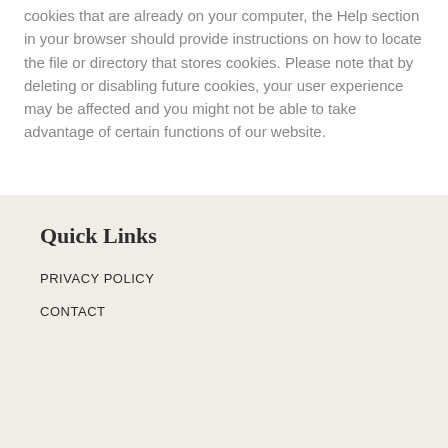cookies that are already on your computer, the Help section in your browser should provide instructions on how to locate the file or directory that stores cookies. Please note that by deleting or disabling future cookies, your user experience may be affected and you might not be able to take advantage of certain functions of our website.
Quick Links
PRIVACY POLICY
CONTACT